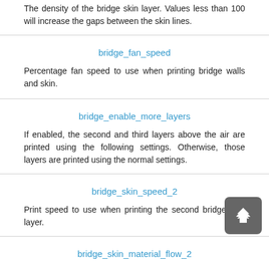The density of the bridge skin layer. Values less than 100 will increase the gaps between the skin lines.
bridge_fan_speed
Percentage fan speed to use when printing bridge walls and skin.
bridge_enable_more_layers
If enabled, the second and third layers above the air are printed using the following settings. Otherwise, those layers are printed using the normal settings.
bridge_skin_speed_2
Print speed to use when printing the second bridge skin layer.
bridge_skin_material_flow_2